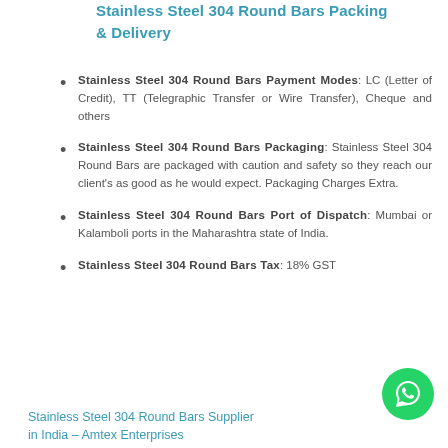Stainless Steel 304 Round Bars Packing & Delivery
Stainless Steel 304 Round Bars Payment Modes: LC (Letter of Credit), TT (Telegraphic Transfer or Wire Transfer), Cheque and others
Stainless Steel 304 Round Bars Packaging: Stainless Steel 304 Round Bars are packaged with caution and safety so they reach our client's as good as he would expect. Packaging Charges Extra.
Stainless Steel 304 Round Bars Port of Dispatch: Mumbai or Kalamboli ports in the Maharashtra state of India.
Stainless Steel 304 Round Bars Tax: 18% GST
Stainless Steel 304 Round Bars Supplier in India – Amtex Enterprises